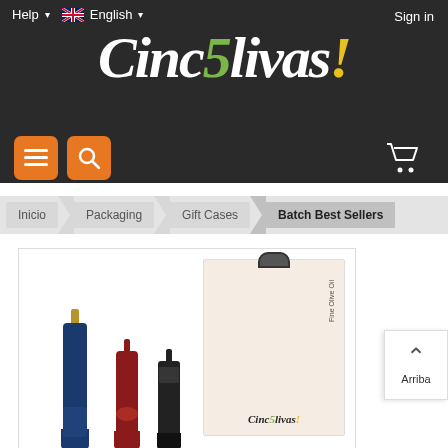Help ▾  English ▾  Sign in
[Figure (logo): Cinc5livas! logo in white italic text on dark background, with '5' in green and '!' in yellow]
[Figure (infographic): Orange menu (hamburger) icon button and orange search (magnifying glass) icon button, plus white shopping cart icon on dark background]
Inicio  Packaging  Gift Cases  Batch Best Sellers
[Figure (photo): Product photo showing three olive oil bottles (blue, red/dark, black) and a Cinc5livas gift box packaging on white background]